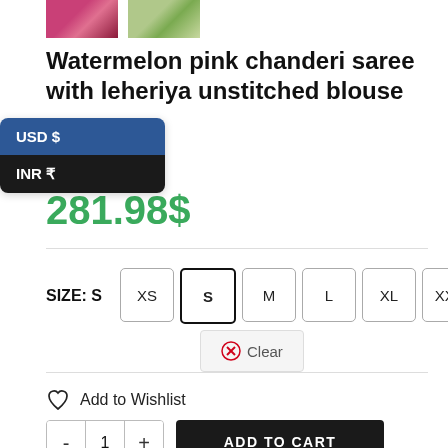[Figure (photo): Two product thumbnail images: one showing a pink saree on a model, one showing a green/outdoor product]
Watermelon pink chanderi saree with leheriya unstitched blouse
USD $
INR ₹
281.98$
SIZE: S
XS S M L XL XXL
Clear
Add to Wishlist
- 1 + ADD TO CART